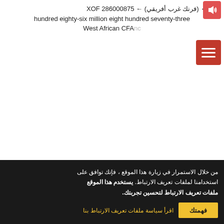two ← (فرنك غرب أفريقي) ← XOF 286000875 hundred eighty-six million eight hundred seventy-three West African CFA franc
[Figure (other): Red speaker/audio icon button in top right corner]
[Figure (other): Red hamburger menu button with three white horizontal lines]
من خلال الاستمرار في زيارة هذا الموقع ، فإنك توافق على استخدامنا لملفات تعريف الارتباط. يستخدم هذا الموقع ملفات تعريف الارتباط لتحسين تجربتك.
فهمتك
اقرأ سياسة ملفات تعريف الارتباط بنا